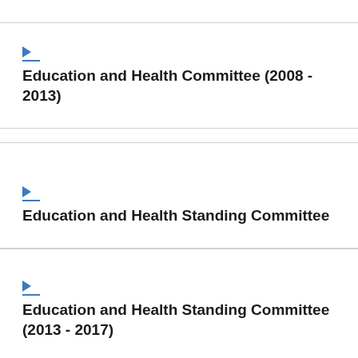Education and Health Committee (2008 - 2013)
Education and Health Standing Committee
Education and Health Standing Committee (2013 - 2017)